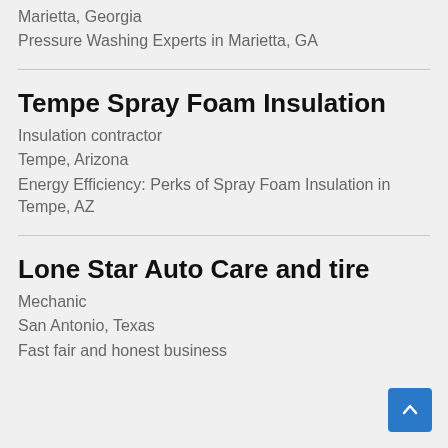Marietta, Georgia
Pressure Washing Experts in Marietta, GA
Tempe Spray Foam Insulation
Insulation contractor
Tempe, Arizona
Energy Efficiency: Perks of Spray Foam Insulation in Tempe, AZ
Lone Star Auto Care and tire
Mechanic
San Antonio, Texas
Fast fair and honest business